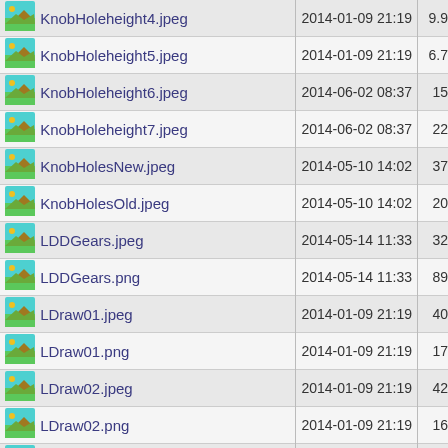|  | Name | Date | Size |
| --- | --- | --- | --- |
| [img] | KnobHoleheight4.jpeg | 2014-01-09 21:19 | 9.9 |
| [img] | KnobHoleheight5.jpeg | 2014-01-09 21:19 | 6.7 |
| [img] | KnobHoleheight6.jpeg | 2014-06-02 08:37 | 15 |
| [img] | KnobHoleheight7.jpeg | 2014-06-02 08:37 | 22 |
| [img] | KnobHolesNew.jpeg | 2014-05-10 14:02 | 37 |
| [img] | KnobHolesOld.jpeg | 2014-05-10 14:02 | 20 |
| [img] | LDDGears.jpeg | 2014-05-14 11:33 | 32 |
| [img] | LDDGears.png | 2014-05-14 11:33 | 89 |
| [img] | LDraw01.jpeg | 2014-01-09 21:19 | 40 |
| [img] | LDraw01.png | 2014-01-09 21:19 | 17 |
| [img] | LDraw02.jpeg | 2014-01-09 21:19 | 42 |
| [img] | LDraw02.png | 2014-01-09 21:19 | 16 |
| [img] | LDraw03.png | 2014-01-09 21:19 | 34 |
| [img] | LDraw04.png | 2014-01-09 21:19 | 41 |
| [svg] | Sleeve1.svg | 2014-08-10 21:29 | 3.5 |
| [img] | TouchingAxles.jpeg | 2014-01-09 21:19 | 71 |